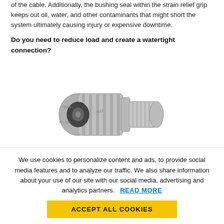of the cable. Additionally, the bushing seal within the strain relief grip keeps out oil, water, and other contaminants that might short the system ultimately causing injury or expensive downtime.
Do you need to reduce load and create a watertight connection?
[Figure (photo): Photo of a grey Kellems cord connector — a cylindrical industrial cable fitting with threaded end and strain relief grip body]
Consider Kellems Cord Connector
We use cookies to personalize content and ads, to provide social media features and to analyze our traffic. We also share information about your use of our site with our social media, advertising and analytics partners. READ MORE
ACCEPT ALL COOKIES